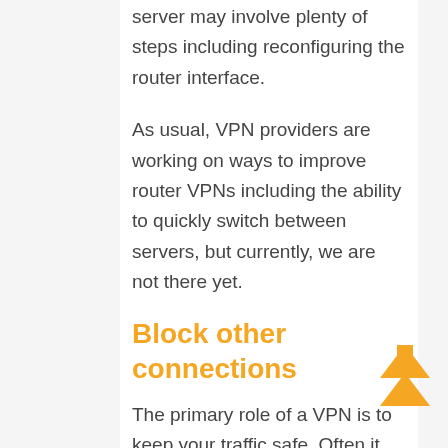server may involve plenty of steps including reconfiguring the router interface.
As usual, VPN providers are working on ways to improve router VPNs including the ability to quickly switch between servers, but currently, we are not there yet.
Block other connections
The primary role of a VPN is to keep your traffic safe. Often it may need to block any traffic that does not meet the safety
[Figure (illustration): Orange double up-arrow chevron scroll-to-top icon in the bottom right area]